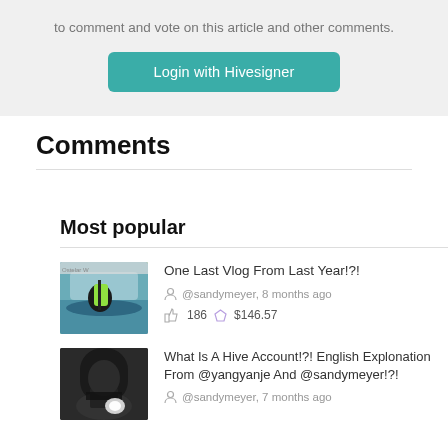to comment and vote on this article and other comments.
Login with Hivesigner
Comments
Most popular
One Last Vlog From Last Year!?!
@sandymeyer, 8 months ago
186   $146.57
What Is A Hive Account!?! English Explonation From @yangyanje And @sandymeyer!?!
@sandymeyer, 7 months ago